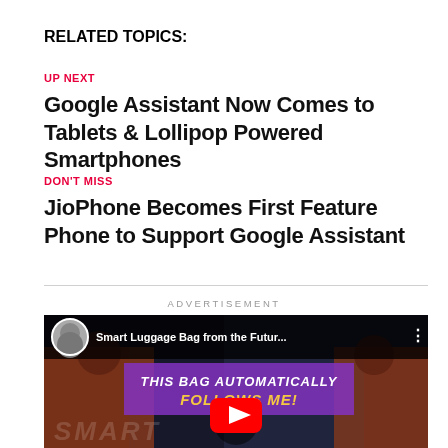RELATED TOPICS:
UP NEXT
Google Assistant Now Comes to Tablets & Lollipop Powered Smartphones
DON'T MISS
JioPhone Becomes First Feature Phone to Support Google Assistant
ADVERTISEMENT
[Figure (screenshot): YouTube video thumbnail for 'Smart Luggage Bag from the Futur...' showing a person in an orange jacket in an airport with purple banner text 'THIS BAG AUTOMATICALLY FOLLOWS ME!' and a YouTube play button at the bottom.]